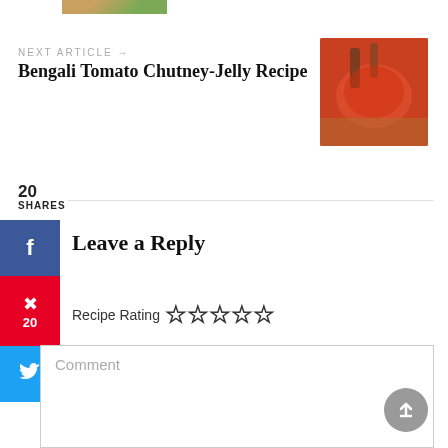[Figure (photo): Partial food image at top, cropped]
NEXT ARTICLE →
Bengali Tomato Chutney-Jelly Recipe
[Figure (photo): Jar of red tomato chutney with spices on a plate]
20
SHARES
Leave a Reply
Recipe Rating ☆☆☆☆☆
Comment